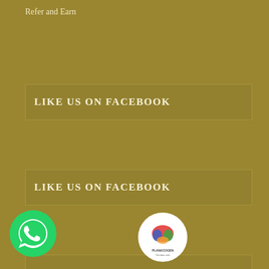Refer and Earn
LIKE US ON FACEBOOK
LIKE US ON FACEBOOK
LIKE US ON FACEBOOK
[Figure (illustration): Row of social media and brand icons: AFC (red circle), LABO Nutrition (white circle), Twitter (blue bird), YouTube (red), LinkedIn (blue), Email (orange). Below: WhatsApp (green circle) on left, Planacogen brain logo (white circle) in center.]